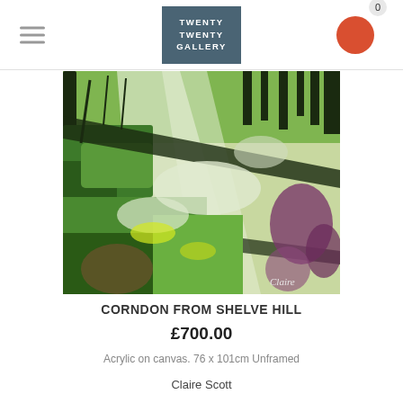TWENTY TWENTY GALLERY
[Figure (photo): Acrylic painting of Corndon from Shelve Hill, showing a sweeping landscape with bold green, white and purple brushstrokes depicting hillside fields and trees, signed 'Claire' in lower right corner.]
CORNDON FROM SHELVE HILL
£700.00
Acrylic on canvas. 76 x 101cm Unframed
Claire Scott